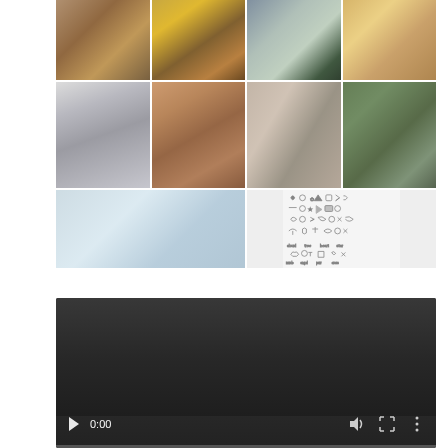[Figure (photo): A collage/grid of wind chime product photos arranged in 3 rows. Row 1: 4 photos of wind chimes in various outdoor settings (brass chimes indoors, chimes among autumn leaves, chimes on a path, chimes in warm forest light). Row 2: 4 photos including a close-up of a hexagonal wind chime top, a teardrop engraved memorial wind chime in a garden, tall silver chimes, and chimes in a wooded area. Row 3: 2 photos - a sunroom/porch with chimes, and an icon/symbol sheet for personalization options.]
[Figure (screenshot): A video player embed with dark background showing 0:00 timestamp, play button, volume icon, fullscreen icon, and options button, with a progress bar at the bottom.]